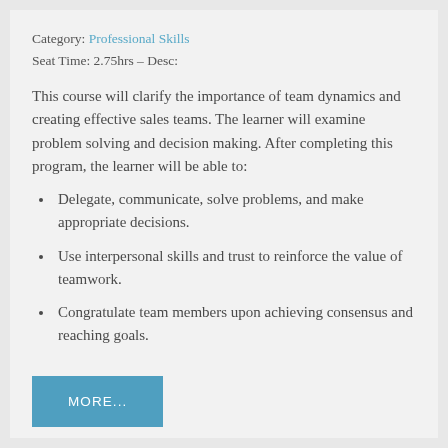Category: Professional Skills
Seat Time: 2.75hrs – Desc:
This course will clarify the importance of team dynamics and creating effective sales teams. The learner will examine problem solving and decision making. After completing this program, the learner will be able to:
Delegate, communicate, solve problems, and make appropriate decisions.
Use interpersonal skills and trust to reinforce the value of teamwork.
Congratulate team members upon achieving consensus and reaching goals.
MORE...